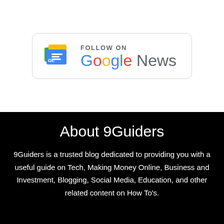[Figure (logo): Follow on Google News badge with Google News icon and text]
About 9Guiders
9Guiders is a trusted blog dedicated to providing you with a useful guide on Tech, Making Money Online, Business and Investment, Blogging, Social Media, Education, and other related content on How To's.